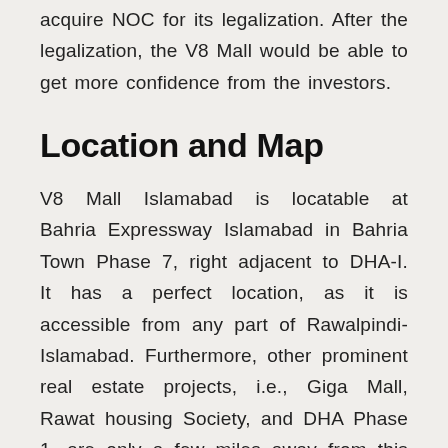acquire NOC for its legalization. After the legalization, the V8 Mall would be able to get more confidence from the investors.
Location and Map
V8 Mall Islamabad is locatable at Bahria Expressway Islamabad in Bahria Town Phase 7, right adjacent to DHA-I. It has a perfect location, as it is accessible from any part of Rawalpindi-Islamabad. Furthermore, other prominent real estate projects, i.e., Giga Mall, Rawat housing Society, and DHA Phase 1, are only a few miles away from this mall.